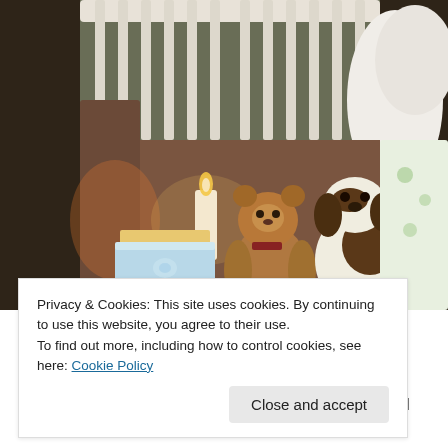[Figure (photo): A baby's crib with two stuffed animals (a teddy bear and a stuffed dog), a lit white candle, and a folded blue baby blanket with decorative trim placed on a brown knit blanket inside the crib.]
Privacy & Cookies: This site uses cookies. By continuing to use this website, you agree to their use.
To find out more, including how to control cookies, see here: Cookie Policy
Close and accept
and all the other precious babies who are not here. I hope